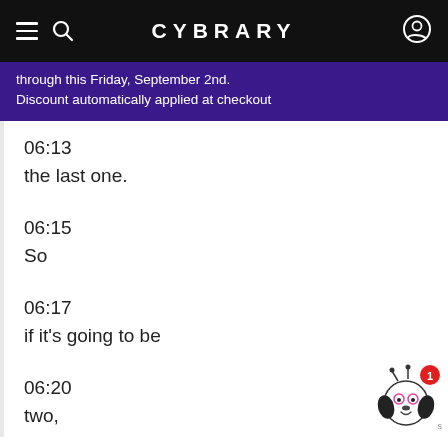CYBRARY
through this Friday, September 2nd. Discount automatically applied at checkout
06:13
the last one.
06:15
So
06:17
if it's going to be
06:20
two,